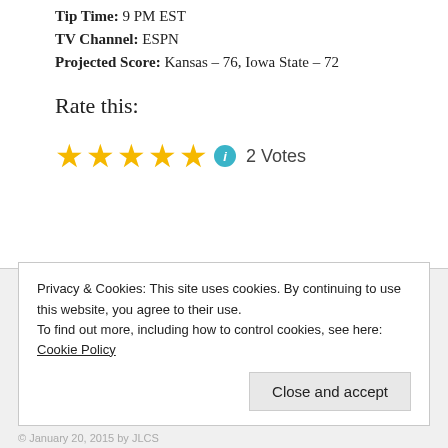Tip Time: 9 PM EST
TV Channel: ESPN
Projected Score: Kansas – 76, Iowa State – 72
Rate this:
[Figure (other): Five gold stars rating widget with info icon and '2 Votes' label]
Privacy & Cookies: This site uses cookies. By continuing to use this website, you agree to their use.
To find out more, including how to control cookies, see here: Cookie Policy
Close and accept
© January 20, 2015 by JLCS